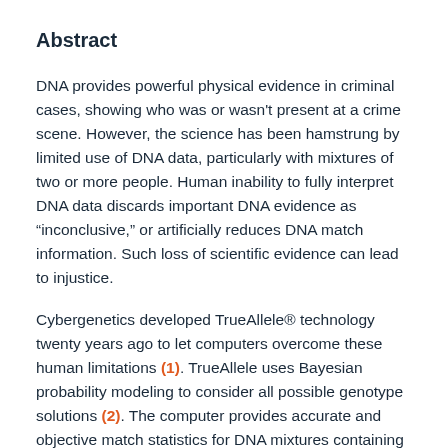Abstract
DNA provides powerful physical evidence in criminal cases, showing who was or wasn't present at a crime scene. However, the science has been hamstrung by limited use of DNA data, particularly with mixtures of two or more people. Human inability to fully interpret DNA data discards important DNA evidence as "inconclusive," or artificially reduces DNA match information. Such loss of scientific evidence can lead to injustice.
Cybergenetics developed TrueAllele® technology twenty years ago to let computers overcome these human limitations (1). TrueAllele uses Bayesian probability modeling to consider all possible genotype solutions (2). The computer provides accurate and objective match statistics for DNA mixtures containing as many as five (3) or ten (4) unknown contributors.